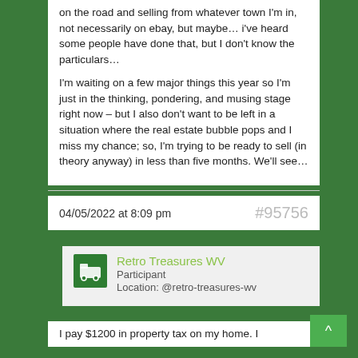on the road and selling from whatever town I'm in, not necessarily on ebay, but maybe… i've heard some people have done that, but I don't know the particulars…

I'm waiting on a few major things this year so I'm just in the thinking, pondering, and musing stage right now – but I also don't want to be left in a situation where the real estate bubble pops and I miss my chance; so, I'm trying to be ready to sell (in theory anyway) in less than five months. We'll see…
04/05/2022 at 8:09 pm
#95756
Retro Treasures WV
Participant
Location: @retro-treasures-wv
I pay $1200 in property tax on my home. I